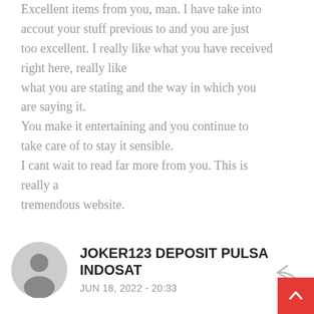Excellent items from you, man. I have take into accout your stuff previous to and you are just too excellent. I really like what you have received right here, really like what you are stating and the way in which you are saying it. You make it entertaining and you continue to take care of to stay it sensible. I cant wait to read far more from you. This is really a tremendous website.
JOKER123 DEPOSIT PULSA INDOSAT
JUN 18, 2022 - 20:33
I think the admin of this web site is really working hard in favor of his web site, as here every data is quality based information.